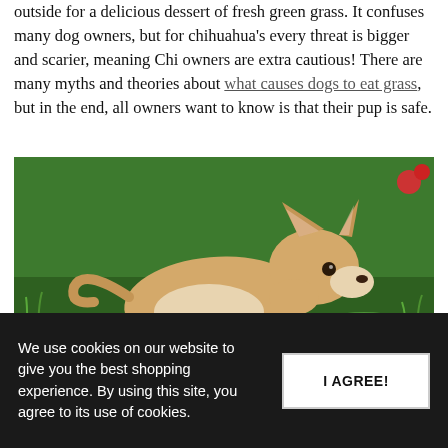outside for a delicious dessert of fresh green grass. It confuses many dog owners, but for chihuahua's every threat is bigger and scarier, meaning Chi owners are extra cautious! There are many myths and theories about what causes dogs to eat grass, but in the end, all owners want to know is that their pup is safe.
[Figure (photo): A tan and white chihuahua dog walking on green grass, viewed from the side, looking toward the camera]
We use cookies on our website to give you the best shopping experience. By using this site, you agree to its use of cookies.